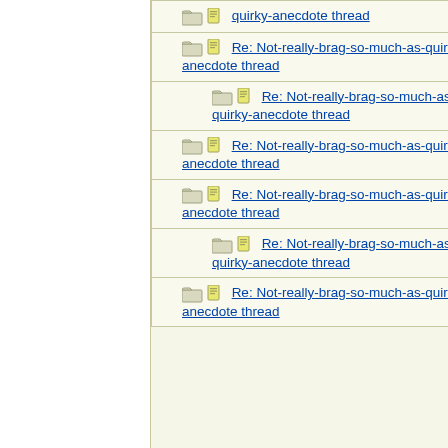| Thread | Author |
| --- | --- |
| Re: Not-really-brag-so-much-as-quirky-anecdote thread | HowlerKa |
| Re: Not-really-brag-so-much-as-quirky-anecdote thread | Cassmo4 |
| Re: Not-really-brag-so-much-as-quirky-anecdote thread | MbaMom |
| Re: Not-really-brag-so-much-as-quirky-anecdote thread | aquinas |
| Re: Not-really-brag-so-much-as-quirky-anecdote thread | HowlerKa |
| Re: Not-really-brag-so-much-as-quirky-anecdote thread | 22B |
| Re: Not-really-brag-so-much-as-quirky-anecdote thread | Cassmo4 |